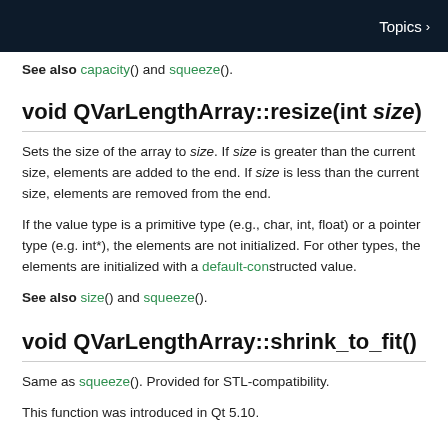Topics >
See also capacity() and squeeze().
void QVarLengthArray::resize(int size)
Sets the size of the array to size. If size is greater than the current size, elements are added to the end. If size is less than the current size, elements are removed from the end.
If the value type is a primitive type (e.g., char, int, float) or a pointer type (e.g., int*), the elements are not initialized. For other types, the elements are initialized with a default-constructed value.
See also size() and squeeze().
void QVarLengthArray::shrink_to_fit()
Same as squeeze(). Provided for STL-compatibility.
This function was introduced in Qt 5.10.